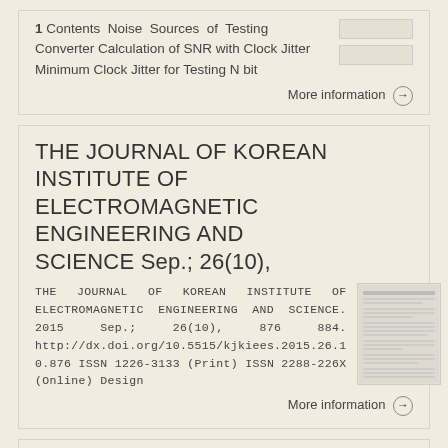Contents Noise Sources of Testing Converter Calculation of SNR with Clock Jitter Minimum Clock Jitter for Testing N bit
More information →
THE JOURNAL OF KOREAN INSTITUTE OF ELECTROMAGNETIC ENGINEERING AND SCIENCE Sep.; 26(10),
THE JOURNAL OF KOREAN INSTITUTE OF ELECTROMAGNETIC ENGINEERING AND SCIENCE. 2015 Sep.; 26(10), 876 884. http://dx.doi.org/10.5515/kjkiees.2015.26.10.876 ISSN 1226-3133 (Print) ISSN 2288-226X (Online) Design
More information →
THE JOURNAL OF KOREAN INSTITUTE OF ELECTROMAGNETIC ENGINEERING AND